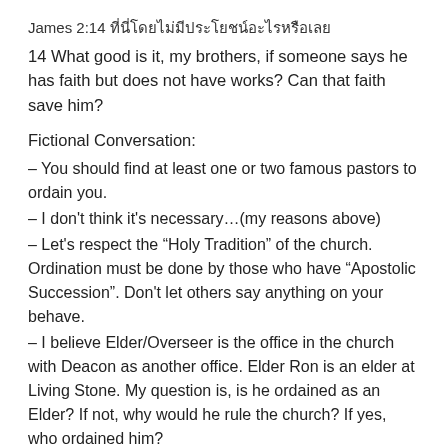James 2:14 [Thai characters]
14 What good is it, my brothers, if someone says he has faith but does not have works? Can that faith save him?
Fictional Conversation:
– You should find at least one or two famous pastors to ordain you.
– I don't think it's necessary…(my reasons above)
– Let's respect the “Holy Tradition” of the church. Ordination must be done by those who have “Apostolic Succession”. Don't let others say anything on your behave.
– I believe Elder/Overseer is the office in the church with Deacon as another office. Elder Ron is an elder at Living Stone. My question is, is he ordained as an Elder? If not, why would he rule the church? If yes, who ordained him?
– Elder Ron is an ordained officer in Living Stone.
– Very well. Then Elder Ron must have Apostolic